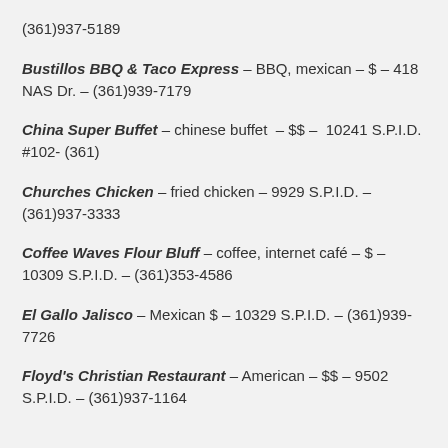(361)937-5189
Bustillos BBQ & Taco Express – BBQ, mexican – $ – 418 NAS Dr. – (361)939-7179
China Super Buffet – chinese buffet – $$ – 10241 S.P.I.D. #102- (361)
Churches Chicken – fried chicken – 9929 S.P.I.D. – (361)937-3333
Coffee Waves Flour Bluff – coffee, internet café – $ – 10309 S.P.I.D. – (361)353-4586
El Gallo Jalisco – Mexican $ – 10329 S.P.I.D. – (361)939-7726
Floyd's Christian Restaurant – American – $$ – 9502 S.P.I.D. – (361)937-1164